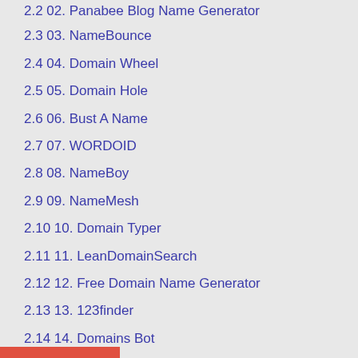2.2 02. Panabee Blog Name Generator
2.3 03. NameBounce
2.4 04. Domain Wheel
2.5 05. Domain Hole
2.6 06. Bust A Name
2.7 07. WORDOID
2.8 08. NameBoy
2.9 09. NameMesh
2.10 10. Domain Typer
2.11 11. LeanDomainSearch
2.12 12. Free Domain Name Generator
2.13 13. 123finder
2.14 14. Domains Bot
2.15 15. Domize